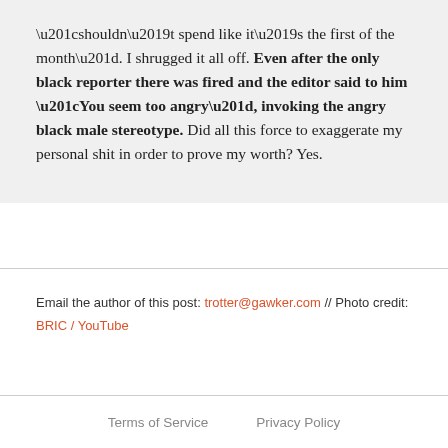“shouldn’t spend like it’s the first of the month”. I shrugged it all off. Even after the only black reporter there was fired and the editor said to him “You seem too angry”, invoking the angry black male stereotype. Did all this force to exaggerate my personal shit in order to prove my worth? Yes.
Email the author of this post: trotter@gawker.com // Photo credit: BRIC / YouTube
Terms of Service   Privacy Policy